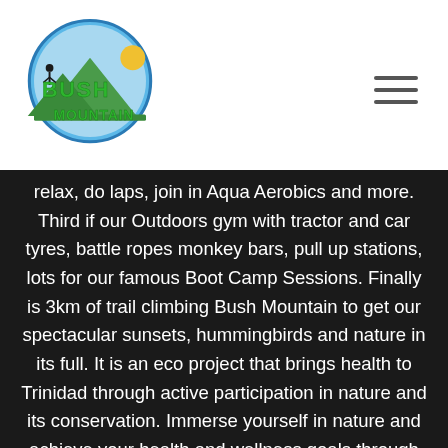Bush Mountain logo and navigation
relax, do laps, join in Aqua Aerobics and more. Third if our Outdoors gym with tractor and car tyres, battle ropes monkey bars, pull up stations, lots for our famous Boot Camp Sessions. Finally is 3km of trail climbing Bush Mountain to get our spectacular sunsets, hummingbirds and nature in its full. It is an eco project that brings health to Trinidad through active participation in nature and its conservation. Immerse yourself in nature and achieve your health and wellness goals through trail walking, running,